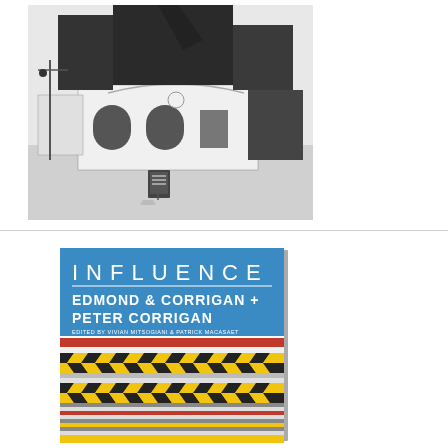[Figure (photo): Black and white photograph of an architectural scale model showing a building with arched windows, classical facade elements, and dark geometric volumes/boxes stacked on top. A small sign board is visible in the foreground.]
[Figure (photo): Book cover for 'INFLUENCE: EDMOND & CORRIGAN + PETER CORRIGAN', edited by Vivian Mitsogiani & Patrick Macasaet. The cover has a blue upper section with white text and a lower section featuring a bold graphic pattern of interlocking black, red, yellow, white and grey zigzag/chevron stripes.]